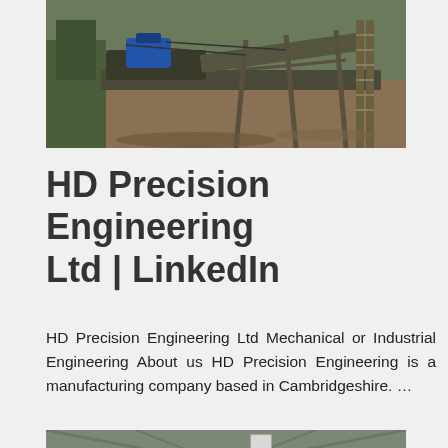[Figure (photo): Industrial engineering equipment outdoors — heavy machinery with blue motor, conveyor/belt system, and metal scaffolding structure in an excavated or quarry-like setting.]
HD Precision Engineering Ltd | LinkedIn
HD Precision Engineering Ltd Mechanical or Industrial Engineering About us HD Precision Engineering is a manufacturing company based in Cambridgeshire. …
[Figure (photo): Large industrial manufacturing facility interior showing milling or grinding equipment, dust collector, tall cylindrical white industrial mill, metal storage silos, and structural steel framework.]